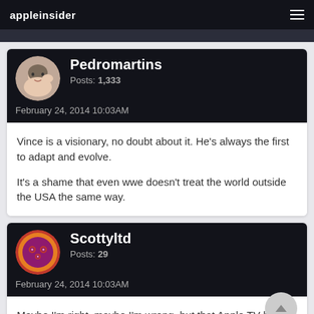appleinsider
Pedromartins
Posts: 1,333
February 24, 2014 10:03AM
Vince is a visionary, no doubt about it. He's always the first to adapt and evolve.

It's a shame that even wwe doesn't treat the world outside the USA the same way.
Scottyltd
Posts: 29
February 24, 2014 10:03AM
Maybe I'm right, maybe I'm wrong, but that Apple TV home